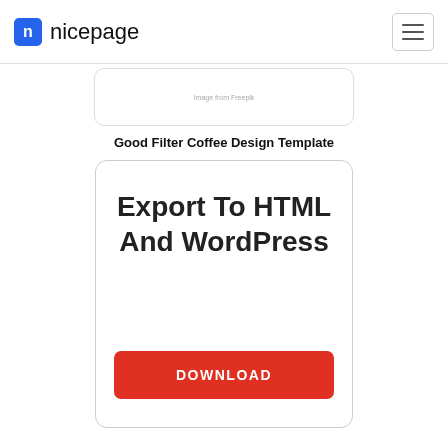nicepage
[Figure (screenshot): Partially visible card with small image placeholder text 'Image from Freepik']
Good Filter Coffee Design Template
Export To HTML And WordPress
DOWNLOAD